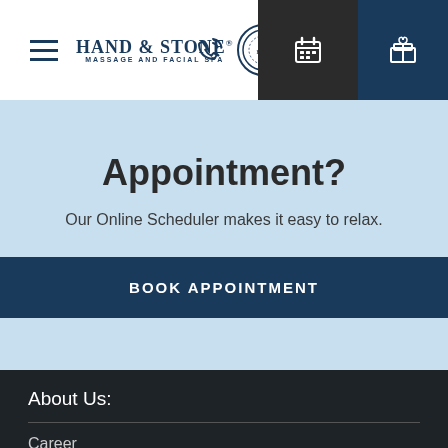Hand & Stone Massage and Facial Spa
Ready to Book an Appointment?
Our Online Scheduler makes it easy to relax.
BOOK APPOINTMENT
About Us:
Career